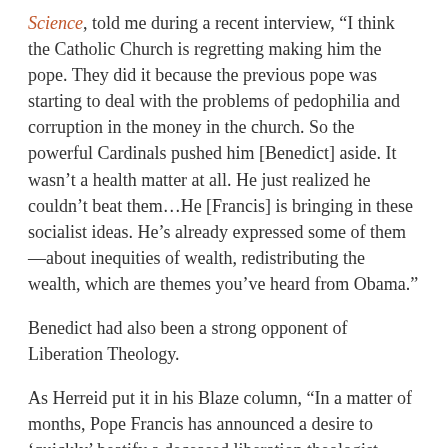Science, told me during a recent interview, “I think the Catholic Church is regretting making him the pope. They did it because the previous pope was starting to deal with the problems of pedophilia and corruption in the money in the church. So the powerful Cardinals pushed him [Benedict] aside. It wasn’t a health matter at all. He just realized he couldn’t beat them…He [Francis] is bringing in these socialist ideas. He’s already expressed some of them—about inequities of wealth, redistributing the wealth, which are themes you’ve heard from Obama.”
Benedict had also been a strong opponent of Liberation Theology.
As Herreid put it in his Blaze column, “In a matter of months, Pope Francis has announced a desire to ‘quickly’ beatify a deceased liberation theologist bishop, reconciled with a Sandinista activist priest who once called Ronald Reagan a ‘butcher’ and an ‘international outlaw,’ and even invited the founder of the liberation theology movement, Rev. Gustavo